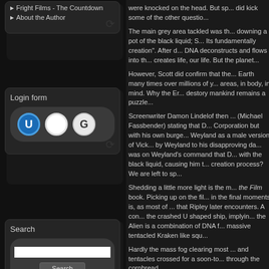▶ Fright Films - The Countdown
▶ About the Author
Login form
[Figure (other): Login form widget with three circular icons: U (blue), blank (white), G (grey)]
Search
[Figure (other): Search widget with text input field and Search button]
were knocked on the head. But Sp... did kick some of the other questio...
The main grey area tackled was th... downing a pot of the black liquid; S... Its fundamentally creation". After d... DNA deconstructs and flows into th... creates life, our life. But the planet...
However, Scott did confirm that the... Earth many times over millions of y... areas, in body, in mind. Why the Er... destory mankind remains a puzzle...
Screenwriter Damon Lindelof then ... (Michael Fassbender) stating that D... Corporation but with his own burge... Weyland as a male version of Vick... by Weyland to his disapproving da... was on Weyland's command that D... with the black liquid, causing him t... creation process? We are left to sp...
Shedding a little more light is the m... the Film book. Picking up on the fil... in the final moments is, as most of ... that Ripley later encounters. A con... the crashed U shaped ship, implyin... the Alien is a combination of DNA f... massive tentacled Kraken like squ...
Hardly the mass fog clearing most ... and tentacles crossed for a soon-to... through the cornbread.
Views: 2655 | Added by: Dave | Rating...